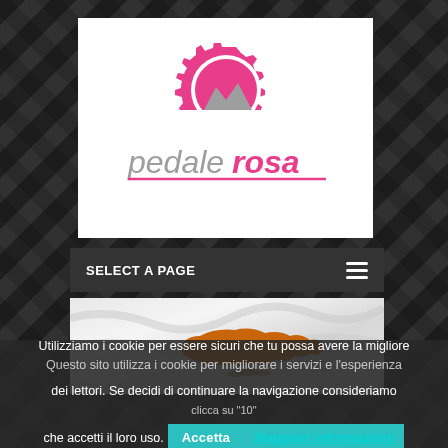[Figure (logo): PedaleRosa logo — pink gear icon with gray mountain silhouette and italic text 'pedale' in gray and 'rosa' in pink with pink underline]
SELECT A PAGE
[Figure (photo): Cyprus flag image showing white fabric with orange/copper island map silhouette]
Utilizziamo i cookie per essere sicuri che tu possa avere la migliore esperienza sul nostro sito. Questo sito utilizza i cookie per migliorare i servizi e l'esperienza dei lettori. Se decidi di continuare la navigazione consideriamo che accetti il loro uso.
Accetta
Maggiori informazioni